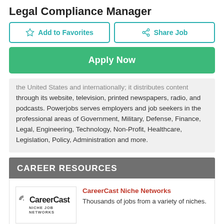Legal Compliance Manager
Add to Favorites
Share Job
Apply Now
the United States and internationally; it distributes content through its website, television, printed newspapers, radio, and podcasts. Powerjobs serves employers and job seekers in the professional areas of Government, Military, Defense, Finance, Legal, Engineering, Technology, Non-Profit, Healthcare, Legislation, Policy, Administration and more.
CAREER RESOURCES
CareerCast Niche Networks
Thousands of jobs from a variety of niches.
The Best Jobs and How to Get Them